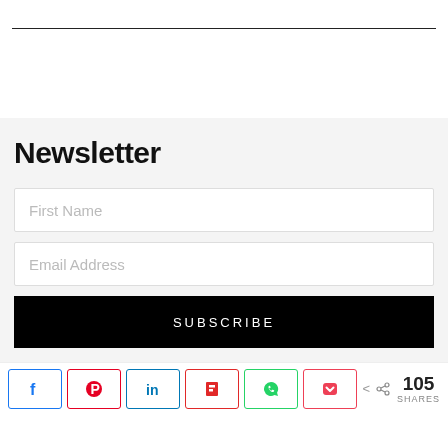Newsletter
First Name
Email Address
SUBSCRIBE
[Figure (other): Social share buttons row: Facebook, Pinterest, LinkedIn, Flipboard, WhatsApp, Pocket buttons, with share count showing 105 SHARES]